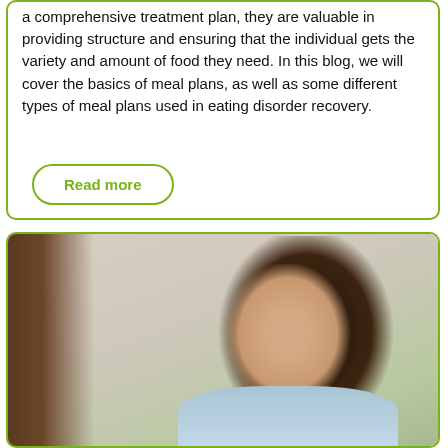a comprehensive treatment plan, they are valuable in providing structure and ensuring that the individual gets the variety and amount of food they need. In this blog, we will cover the basics of meal plans, as well as some different types of meal plans used in eating disorder recovery.
Read more
[Figure (photo): Portrait of a young woman with long dark hair, wearing a light blue collared shirt, looking upward. Background is a blurred warm-toned room interior with a dark element on the left and a hint of green plant.]